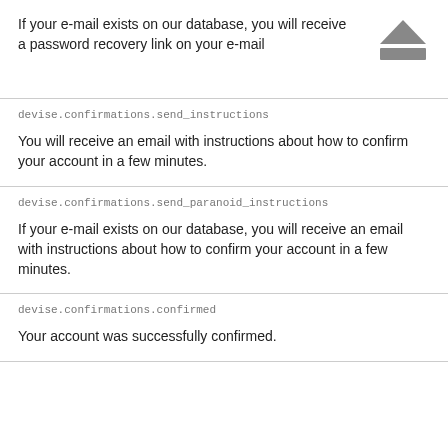If your e-mail exists on our database, you will receive a password recovery link on your e-mail
[Figure (illustration): Eject icon: triangle above a horizontal bar, grey colored]
devise.confirmations.send_instructions
You will receive an email with instructions about how to confirm your account in a few minutes.
devise.confirmations.send_paranoid_instructions
If your e-mail exists on our database, you will receive an email with instructions about how to confirm your account in a few minutes.
devise.confirmations.confirmed
Your account was successfully confirmed.